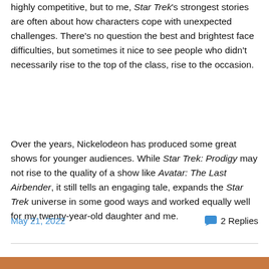highly competitive, but to me, Star Trek's strongest stories are often about how characters cope with unexpected challenges. There's no question the best and brightest face difficulties, but sometimes it nice to see people who didn't necessarily rise to the top of the class, rise to the occasion.
Over the years, Nickelodeon has produced some great shows for younger audiences. While Star Trek: Prodigy may not rise to the quality of a show like Avatar: The Last Airbender, it still tells an engaging tale, expands the Star Trek universe in some good ways and worked equally well for my twenty-year-old daughter and me.
May 21, 2022    2 Replies